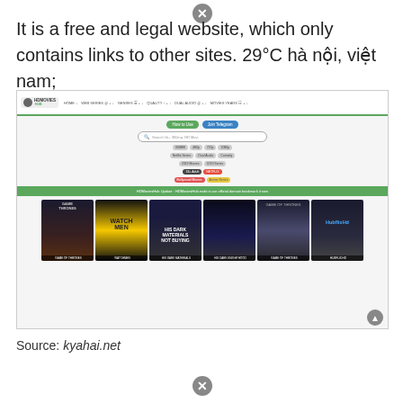It is a free and legal website, which only contains links to other sites. 29°C hà nội, việt nam;
[Figure (screenshot): Screenshot of HDMoviesHub website showing navigation bar, search bar, category tags, update banner, and movie poster thumbnails including Game of Thrones, Watchmen, His Dark Materials, and others]
Source: kyahai.net